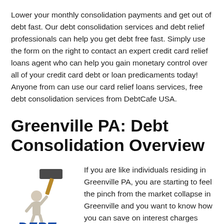Lower your monthly consolidation payments and get out of debt fast. Our debt consolidation services and debt relief professionals can help you get debt free fast. Simply use the form on the right to contact an expert credit card relief loans agent who can help you gain monetary control over all of your credit card debt or loan predicaments today! Anyone from can use our card relief loans services, free debt consolidation services from DebtCafe USA.
Greenville PA: Debt Consolidation Overview
[Figure (illustration): A cartoon figure of a person being crushed by a large hammer/mallet, with the word DEBT in bold blue italic letters below.]
If you are like individuals residing in Greenville PA, you are starting to feel the pinch from the market collapse in Greenville and you want to know how you can save on interest charges with debt consolidation in Greenville and get out of debt...